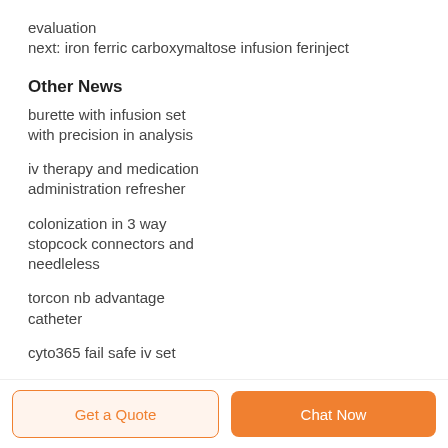evaluation
next: iron ferric carboxymaltose infusion ferinject
Other News
burette with infusion set with precision in analysis
iv therapy and medication administration refresher
colonization in 3 way stopcock connectors and needleless
torcon nb advantage catheter
cyto365 fail safe iv set